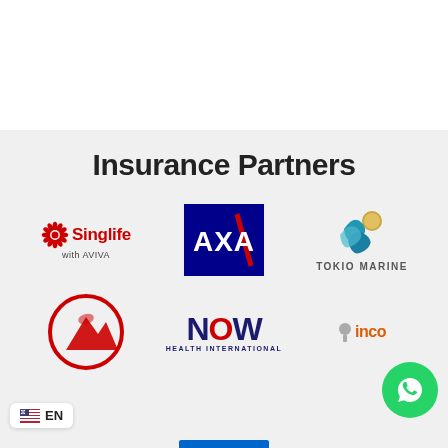Insurance Partners
[Figure (logo): Singlife with AVIVA logo - red sunburst icon with red Singlife text and grey 'with AVIVA' subtext]
[Figure (logo): AXA logo - white AXA text with red diagonal slash on dark blue square background]
[Figure (logo): Tokio Marine logo - blue and gold globe sphere with TOKIO MARINE text below]
[Figure (logo): AIG/red mountain circle logo - partial, red circular border with mountain silhouette]
[Figure (logo): NOW HEALTH INTERNATIONAL logo - dark blue NOW text with multicolor O, HEALTH INTERNATIONAL subtitle]
[Figure (logo): Income logo (partial) - grey i icon with orange 'inco' text partially visible]
[Figure (logo): WhatsApp chat bubble - green circle with white speech bubble icon]
[Figure (logo): EN language selector badge with US flag emoji]